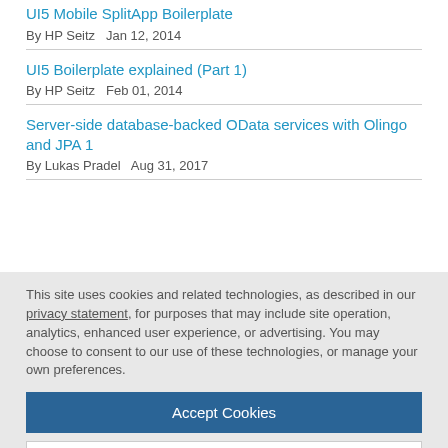UI5 Mobile SplitApp Boilerplate
By HP Seitz   Jan 12, 2014
UI5 Boilerplate explained (Part 1)
By HP Seitz   Feb 01, 2014
Server-side database-backed OData services with Olingo and JPA 1
By Lukas Pradel   Aug 31, 2017
This site uses cookies and related technologies, as described in our privacy statement, for purposes that may include site operation, analytics, enhanced user experience, or advertising. You may choose to consent to our use of these technologies, or manage your own preferences.
Accept Cookies
More Information
Privacy Policy | Powered by: TrustArc
By Former Member   Jun 10, 2015